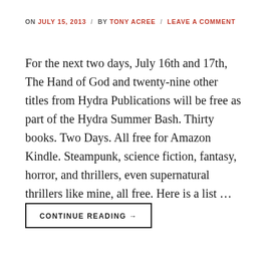ON JULY 15, 2013 / BY TONY ACREE / LEAVE A COMMENT
For the next two days, July 16th and 17th, The Hand of God and twenty-nine other titles from Hydra Publications will be free as part of the Hydra Summer Bash. Thirty books. Two Days. All free for Amazon Kindle. Steampunk, science fiction, fantasy, horror, and thrillers, even supernatural thrillers like mine, all free. Here is a list …
CONTINUE READING →